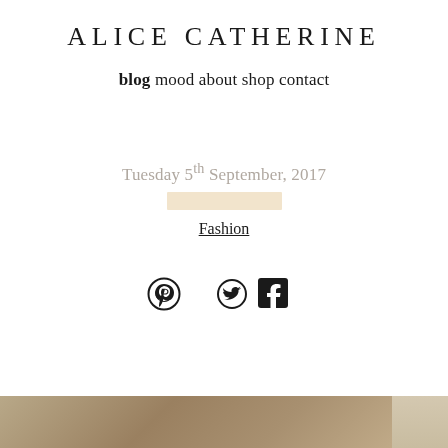ALICE CATHERINE
blog  mood  about  shop  contact
Tuesday 5th September, 2017
Fashion
[Figure (other): Social media icons: Pinterest, Twitter, Facebook]
[Figure (photo): Partial photo strip at the bottom of the page showing a fashion-related image]